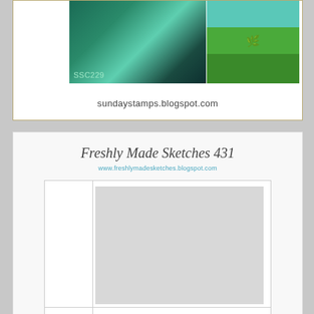[Figure (photo): Sunday Stamps challenge card SSC229 with teal/green color swatches and sunburst image, showing sundaystamps.blogspot.com URL]
[Figure (illustration): Freshly Made Sketches 431 card sketch template showing layout with image area, sentiment strip, and bottom band. URL: www.freshlymadesketches.blogspot.com. Keyword: FMS431]
[Figure (illustration): Handmade card with teal striped border and polka dot panel on left, featuring a colored illustration of a nurse/healthcare worker wearing a mask and scrubs]